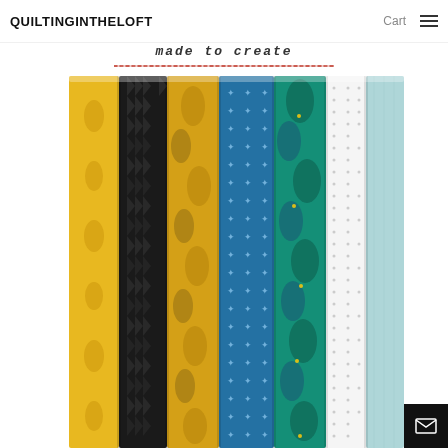QUILTINGINTHELOFT — Cart (navigation header)
made to create
[Figure (photo): A stack of folded fabric bolts/fat quarters arranged vertically, showing various patterns including black textured, yellow/gold paisley, teal/blue with small cross motifs, teal floral with gold accents, white with small dots, and solid light blue/aqua fabrics.]